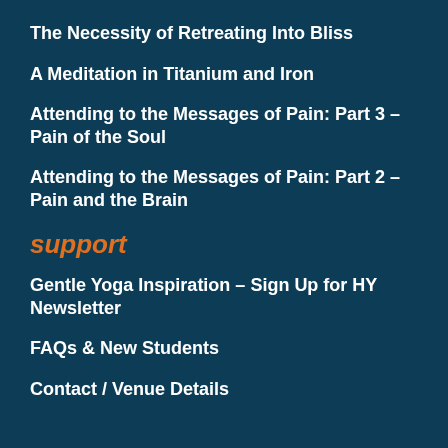The Necessity of Retreating Into Bliss
A Meditation in Titanium and Iron
Attending to the Messages of Pain: Part 3 – Pain of the Soul
Attending to the Messages of Pain: Part 2 – Pain and the Brain
support
Gentle Yoga Inspiration – Sign Up for HY Newsletter
FAQs & New Students
Contact / Venue Details